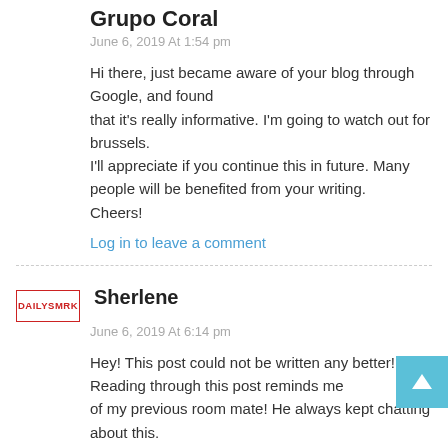Grupo Coral
June 6, 2019 At 1:54 pm
Hi there, just became aware of your blog through Google, and found that it's really informative. I'm going to watch out for brussels.
I'll appreciate if you continue this in future. Many people will be benefited from your writing.
Cheers!
Log in to leave a comment
Sherlene
June 6, 2019 At 6:14 pm
Hey! This post could not be written any better! Reading through this post reminds me of my previous room mate! He always kept chatting about this.

I will forward this article to him. Pretty sure he will have a good read.